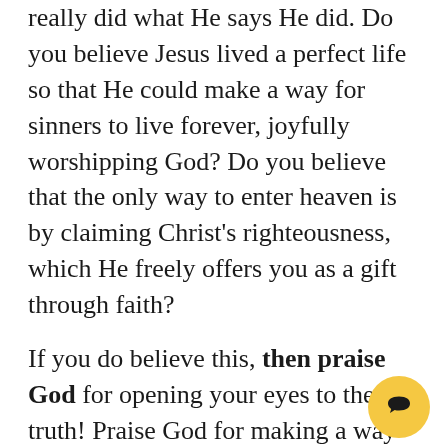really did what He says He did. Do you believe Jesus lived a perfect life so that He could make a way for sinners to live forever, joyfully worshipping God? Do you believe that the only way to enter heaven is by claiming Christ's righteousness, which He freely offers you as a gift through faith?
If you do believe this, then praise God for opening your eyes to the truth! Praise God for making a way for you to come to Him. Praise God for saving you through what Jesus Christ did for you. And beg God for the help of His Spirit to live a life that honors Him.